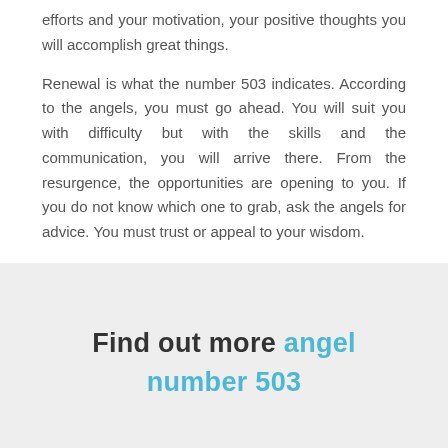efforts and your motivation, your positive thoughts you will accomplish great things.
Renewal is what the number 503 indicates. According to the angels, you must go ahead. You will suit you with difficulty but with the skills and the communication, you will arrive there. From the resurgence, the opportunities are opening to you. If you do not know which one to grab, ask the angels for advice. You must trust or appeal to your wisdom.
Find out more angel number 503